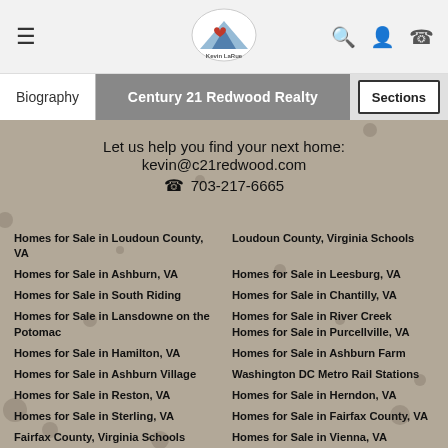[Figure (logo): Kevin LaRue Century 21 Redwood Realty circular logo with mountain and heart]
Century 21 Redwood Realty | Biography | Sections
Let us help you find your next home:
kevin@c21redwood.com
703-217-6665
Homes for Sale in Loudoun County, VA
Loudoun County, Virginia Schools
Homes for Sale in Ashburn, VA
Homes for Sale in Leesburg, VA
Homes for Sale in South Riding
Homes for Sale in Chantilly, VA
Homes for Sale in Lansdowne on the Potomac
Homes for Sale in River Creek
Homes for Sale in Purcellville, VA
Homes for Sale in Hamilton, VA
Homes for Sale in Ashburn Farm
Homes for Sale in Ashburn Village
Washington DC Metro Rail Stations
Homes for Sale in Reston, VA
Homes for Sale in Herndon, VA
Homes for Sale in Sterling, VA
Homes for Sale in Fairfax County, VA
Fairfax County, Virginia Schools
Homes for Sale in Vienna, VA
Homes for Sale in McLean, VA
Prince William County, Virginia
Homes for Sale in Round Hill, VA
Homes for Sale in Aldie, VA